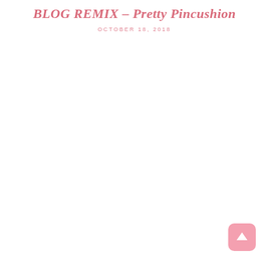BLOG REMIX – Pretty Pincushion
OCTOBER 18, 2018
[Figure (other): Scroll-to-top button: a rounded pink square with an upward-pointing white arrow icon, positioned in the bottom-right corner of the page.]